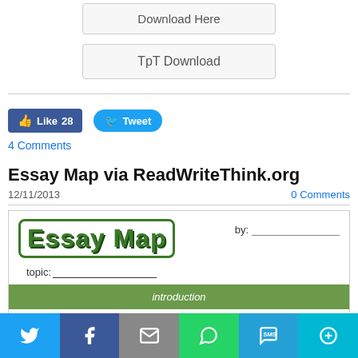[Figure (screenshot): Download Here button (partially visible at top)]
[Figure (screenshot): TpT Download button]
[Figure (screenshot): Facebook Like 28 and Tweet social buttons]
4 Comments
Essay Map via ReadWriteThink.org
12/11/2013
0 Comments
[Figure (screenshot): Essay Map worksheet preview showing logo, by line, topic line, and introduction bar]
[Figure (screenshot): Share bar with Twitter, Facebook, Email, WhatsApp, SMS, and Other share buttons]